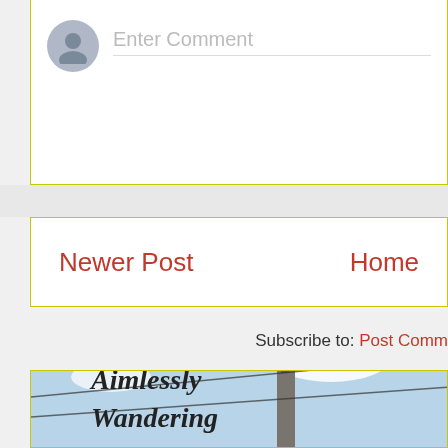Enter Comment
Newer Post
Home
Subscribe to: Post Comm...
Aimlessly Wandering
For some time now, I seem to have been aimlessly wande... media streams in search of order, purpose, a...
[Figure (illustration): Book cover or promotional image showing 'Aimlessly Wandering' text over a photo of a spire/tower with cables, light blue sky background]